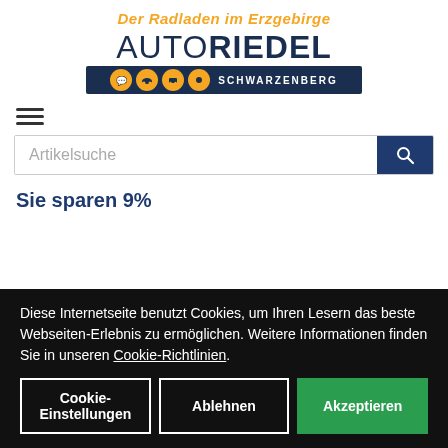[Figure (logo): AutoRiedel Schwarzenberg logo with tagline 'Der Radladen im Erzgebirge' in orange italic script, bold navy blue AUTORIEDEL text, and a navy bar with orange circle icons and SCHWARZENBERG text]
[Figure (other): Hamburger menu icon (three horizontal lines)]
Artikelsuche
Sie sparen 9%
Diese Internetseite benutzt Cookies, um Ihren Lesern das beste Webseiten-Erlebnis zu ermöglichen. Weitere Informationen finden Sie in unseren Cookie-Richtlinien.
Cookie-Einstellungen
Ablehnen
Akzeptieren